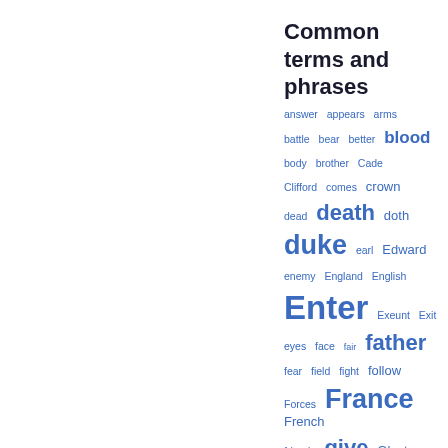Common terms and phrases
[Figure (infographic): Word cloud of common terms and phrases from a Shakespeare play (Henry VI Part 2), with words sized by frequency. Words include: answer, appears, arms, battle, bear, better, blood, body, brother, Cade, Clifford, comes, crown, dead, death, doth, duke, earl, Edward, enemy, England, English, Enter, Exeunt, Exit, eyes, face, fair, father, fear, field, fight, follow, Forces, France, French, friends, give, Gloster, grace, hand, hast, hath, head, hear, heart]